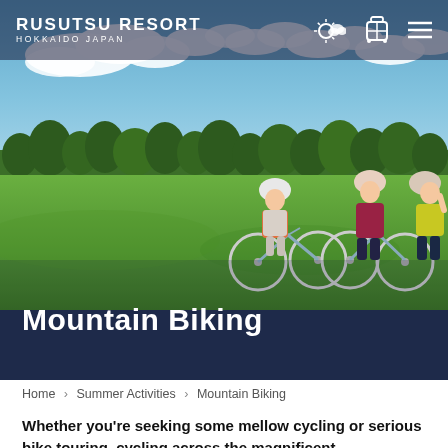RUSUTSU RESORT HOKKAIDO JAPAN
[Figure (photo): Three cyclists wearing helmets standing with mountain bikes on a green field under a blue sky with clouds. Two women and a child. Trees visible in the background. Photo taken at Rusutsu Resort, Hokkaido Japan.]
Mountain Biking
Home > Summer Activities > Mountain Biking
Whether you're seeking some mellow cycling or serious bike touring, cycling across the magnificent